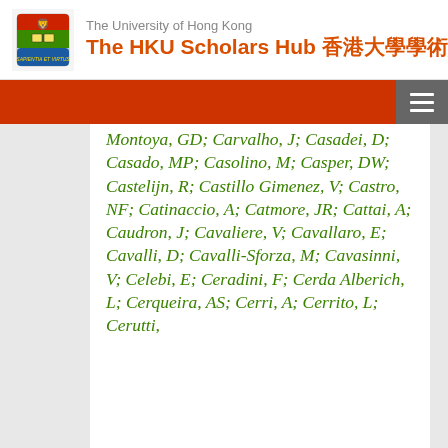The University of Hong Kong — The HKU Scholars Hub 香港大學學術庫
Montoya, GD; Carvalho, J; Casadei, D; Casado, MP; Casolino, M; Casper, DW; Castelijn, R; Castillo Gimenez, V; Castro, NF; Catinaccio, A; Catmore, JR; Cattai, A; Caudron, J; Cavaliere, V; Cavallaro, E; Cavalli, D; Cavalli-Sforza, M; Cavasinni, V; Celebi, E; Ceradini, F; Cerda Alberich, L; Cerqueira, AS; Cerri, A; Cerrito, L; Cerutti,